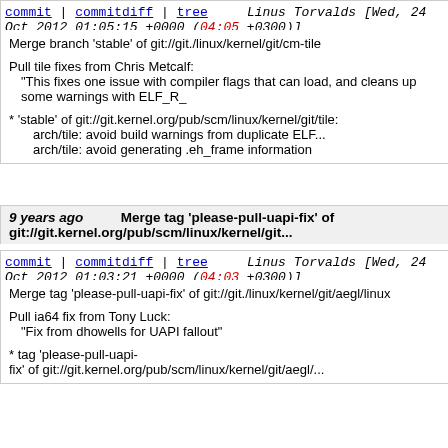commit | commitdiff | tree   Linus Torvalds [Wed, 24 Oct 2012 01:05:15 +0000 (04:05 +0300)]
Merge branch 'stable' of git://git./linux/kernel/git/cm-tile

Pull tile fixes from Chris Metcalf:
 "This fixes one issue with compiler flags that can load, and cleans up some warnings with ELF_R_

* 'stable' of git://git.kernel.org/pub/scm/linux/kernel/git/tile:
  arch/tile: avoid build warnings from duplicate ELF...
  arch/tile: avoid generating .eh_frame information
9 years ago   Merge tag 'please-pull-uapi-fix' of git://git.kernel.org/pub/scm/linux/kernel/git...
commit | commitdiff | tree   Linus Torvalds [Wed, 24 Oct 2012 01:03:21 +0000 (04:03 +0300)]
Merge tag 'please-pull-uapi-fix' of git://git./linux/kernel/git/aegl/linux

Pull ia64 fix from Tony Luck:
 "Fix from dhowells for UAPI fallout"

* tag 'please-pull-uapi-fix' of git://git.kernel.org/pub/scm/linux/kernel/git/aegl/...